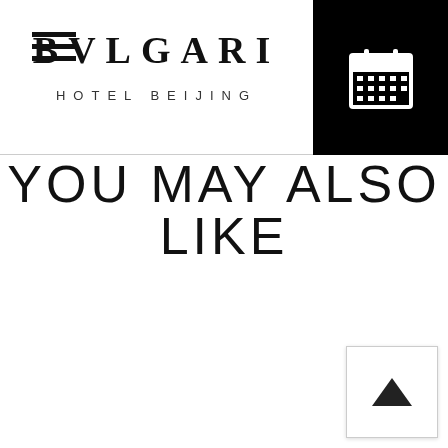BVLGARI HOTEL BEIJING
YOU MAY ALSO LIKE
[Figure (other): Scroll-to-top button with upward arrow triangle]